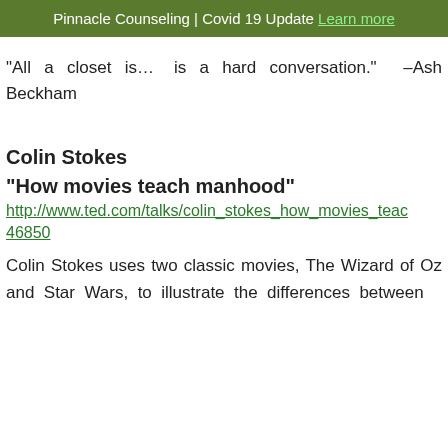Pinnacle Counseling | Covid 19 Update Learn more
“All a closet is… is a hard conversation.” –Ash Beckham
Colin Stokes
“How movies teach manhood”
http://www.ted.com/talks/colin_stokes_how_movies_teach_manhood?utm_source=newsletter_weekly_2013-03-23&utm_campaign=newsletter_weekly&utm_medium=email&utm_content=talk_of_the_day_button#46850
Colin Stokes uses two classic movies, The Wizard of Oz and Star Wars, to illustrate the differences between